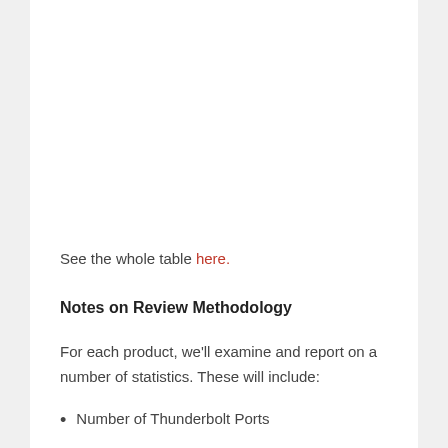See the whole table here.
Notes on Review Methodology
For each product, we'll examine and report on a number of statistics. These will include:
Number of Thunderbolt Ports